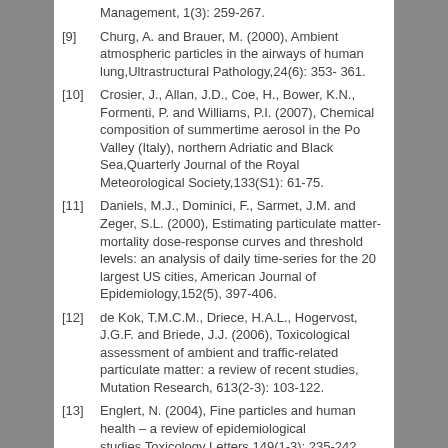Management, 1(3): 259-267.
[9] Churg, A. and Brauer, M. (2000), Ambient atmospheric particles in the airways of human lung,Ultrastructural Pathology,24(6): 353- 361.
[10] Crosier, J., Allan, J.D., Coe, H., Bower, K.N., Formenti, P. and Williams, P.I. (2007), Chemical composition of summertime aerosol in the Po Valley (Italy), northern Adriatic and Black Sea,Quarterly Journal of the Royal Meteorological Society,133(S1): 61-75.
[11] Daniels, M.J., Dominici, F., Sarmet, J.M. and Zeger, S.L. (2000), Estimating particulate matter-mortality dose-response curves and threshold levels: an analysis of daily time-series for the 20 largest US cities, American Journal of Epidemiology,152(5), 397-406.
[12] de Kok, T.M.C.M., Driece, H.A.L., Hogervost, J.G.F. and Briede, J.J. (2006), Toxicological assessment of ambient and traffic-related particulate matter: a review of recent studies, Mutation Research, 613(2-3): 103-122.
[13] Englert, N. (2004), Fine particles and human health – a review of epidemiological studies,Toxicology Letters,149(1-3): 235-242.
[14] Gualtieri, M., Mantecca, P., Cetta, F. and Carnatini, F. (2008), Organic compounds in tire particle induce reactive oxygen species and heat-shock proteins in the human alveolar cell line A549, Environment International, 34(4): 437-442.